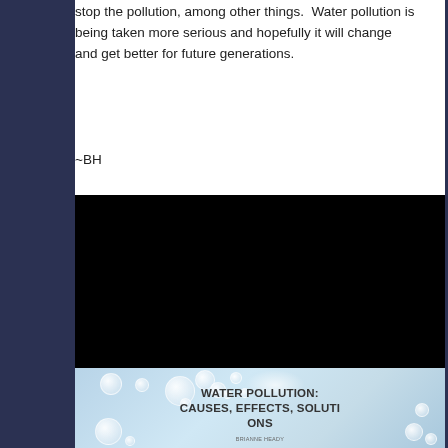stop the pollution, among other things.  Water pollution is being taken more serious and hopefully it will change and get better for future generations.
~BH
[Figure (screenshot): A black rectangle representing an embedded video player, followed below by a slide thumbnail with water droplet/bubble background showing the title 'WATER POLLUTION: CAUSES, EFFECTS, SOLUTIONS' with an author name below it.]